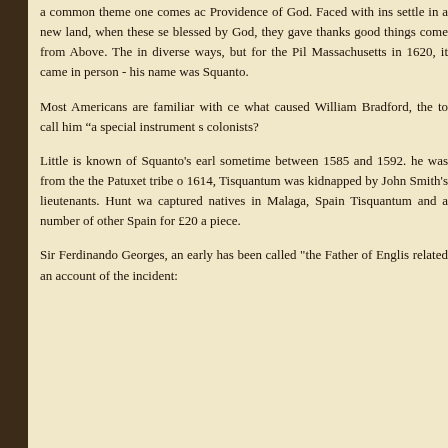a common theme one comes ac Providence of God. Faced with ins settle in a new land, when these se blessed by God, they gave thanks good things come from Above. The in diverse ways, but for the Pil Massachusetts in 1620, it came in person - his name was Squanto.
Most Americans are familiar with ce what caused William Bradford, the to call him “a special instrument s colonists?
Little is known of Squanto's earl sometime between 1585 and 1592. he was from the the Patuxet tribe o 1614, Tisquantum was kidnapped by John Smith's lieutenants. Hunt wa captured natives in Malaga, Spain Tisquantum and a number of other Spain for £20 a piece.
Sir Ferdinando Georges, an early has been called "the Father of Englis related an account of the incident: